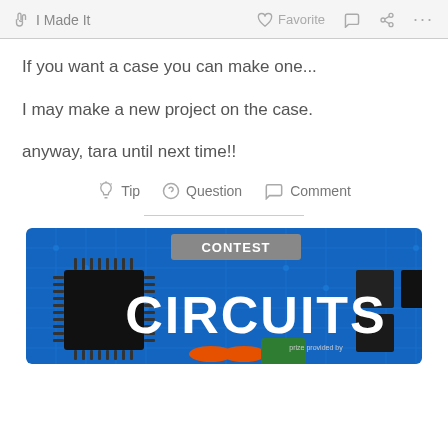✋ I Made It    ♡ Favorite  💬  🔗  ...
If you want a case you can make one...
I may make a new project on the case.
anyway, tara until next time!!
💡 Tip  ❓ Question  💬 Comment
[Figure (screenshot): Contest banner image with dark blue circuit board background and white text reading 'CIRCUITS' and a grey banner reading 'CONTEST' at the top center]